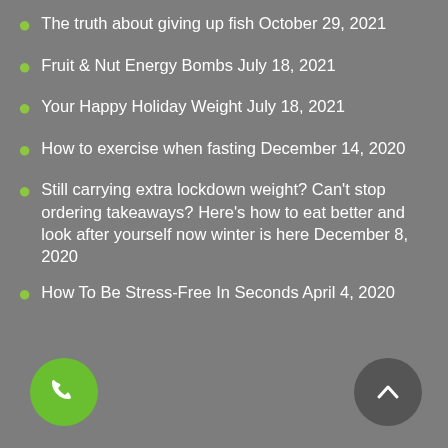The truth about giving up fish October 29, 2021
Fruit & Nut Energy Bombs July 18, 2021
Your Happy Holiday Weight July 18, 2021
How to exercise when fasting December 14, 2020
Still carrying extra lockdown weight? Can't stop ordering takeaways? Here's how to eat better and look after yourself now winter is here December 8, 2020
How To Be Stress-Free In Seconds April 4, 2020